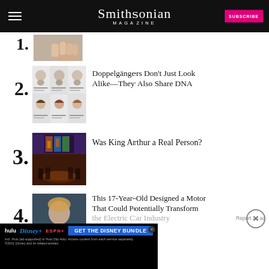Smithsonian MAGAZINE
Doppelgängers Don't Just Look Alike—They Also Share DNA
Was King Arthur a Real Person?
This 17-Year-Old Designed a Motor That Could Potentially Transform the Electric Car Industry
5. [partial] Fossil Lake